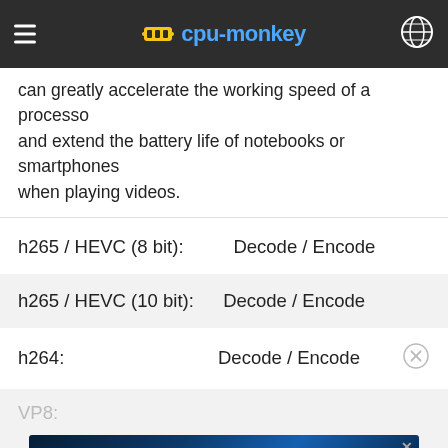cpu-monkey
can greatly accelerate the working speed of a processor and extend the battery life of notebooks or smartphones when playing videos.
| Feature | Support |
| --- | --- |
| h265 / HEVC (8 bit): | Decode / Encode |
| h265 / HEVC (10 bit): | Decode / Encode |
| h264: | Decode / Encode |
| VP8: |  |
| VP9: | Decode / Encode |
[Figure (other): Advertisement banner for Disney Bundle featuring Hulu, Disney+, and ESPN+ logos with 'GET THE DISNEY BUNDLE' call to action button]